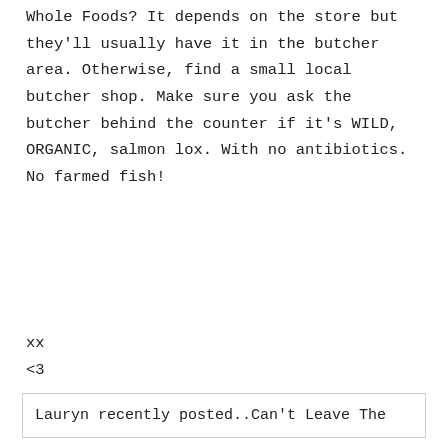Whole Foods? It depends on the store but they'll usually have it in the butcher area. Otherwise, find a small local butcher shop. Make sure you ask the butcher behind the counter if it's WILD, ORGANIC, salmon lox. With no antibiotics. No farmed fish!
xx
<3
Lauryn recently posted..Can't Leave The